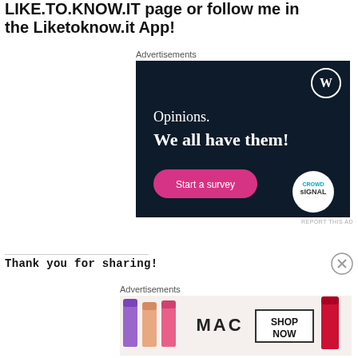LIKE.TO.KNOW.IT page or follow me in the Liketoknow.it App!
Advertisements
[Figure (infographic): CrowdSignal WordPress advertisement with dark navy background. Text reads: 'Opinions. We all have them!' with a pink 'Start a survey' button and CrowdSignal logo.]
REPORT THIS AD
Thank you for sharing!
Advertisements
[Figure (photo): MAC cosmetics advertisement showing colorful lipsticks with 'MAC' logo and 'SHOP NOW' text.]
REPORT THIS AD